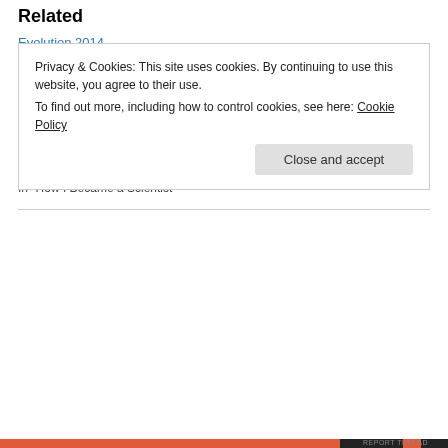Related
Evolution 2014
June 26, 2014
In "Bits of Science"
How did I learn how to program?
September 28, 2014
In "Bits of Science"
Visiting Researcher in Oxford
May 4, 2014
In "How I Became a Scientist"
Privacy & Cookies: This site uses cookies. By continuing to use this website, you agree to their use.
To find out more, including how to control cookies, see here: Cookie Policy